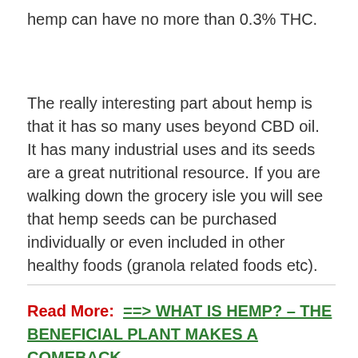hemp can have no more than 0.3% THC.
The really interesting part about hemp is that it has so many uses beyond CBD oil.  It has many industrial uses and its seeds are a great nutritional resource. If you are walking down the grocery isle you will see that hemp seeds can be purchased individually or even included in other healthy foods (granola related foods etc).
Read More:  ==> WHAT IS HEMP? – THE BENEFICIAL PLANT MAKES A COMEBACK